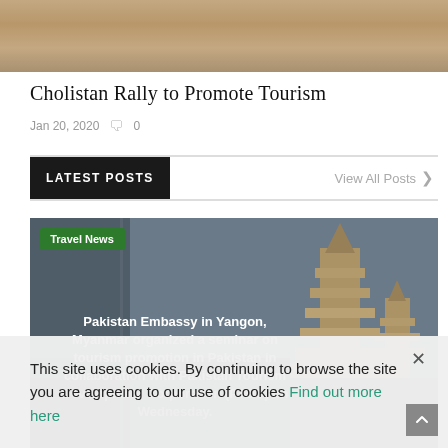[Figure (photo): Top banner image showing sandy/desert textured surface in beige and tan tones]
Cholistan Rally to Promote Tourism
Jan 20, 2020  ☷ 0
LATEST POSTS
View All Posts  >
[Figure (photo): Featured article image showing a pagoda/temple structure in Myanmar (Yangon) against a grey sky, with overlay text about Pakistan Embassy seminar and a green Travel News badge]
Pakistan Embassy in Yangon, Myanmar organized a seminar on tourism promotion in Pakistan in collaboration with Pakistan Tourism Development Corporation (PTDC) on Wednesday.
This site uses cookies. By continuing to browse the site you are agreeing to our use of cookies Find out more here